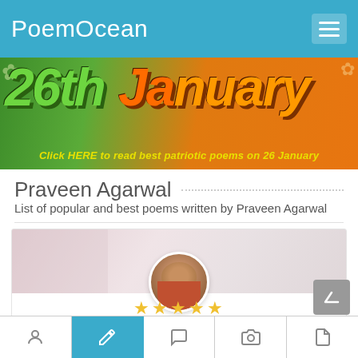PoemOcean
[Figure (photo): 26th January Republic Day banner with colorful text and decorative elements. Text reads: Click HERE to read best patriotic poems on 26 January]
Praveen Agarwal
List of popular and best poems written by Praveen Agarwal
[Figure (photo): Praveen Agarwal author profile card with avatar photo showing a man wearing glasses, blurred colorful background, 5 gold stars rating, and name Praveen Agarwal]
Tab navigation bar with icons: person, edit/pencil, chat, camera, document